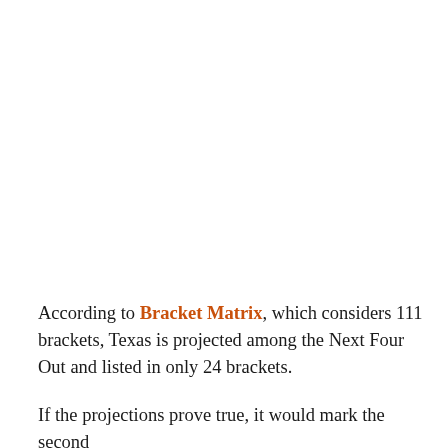According to Bracket Matrix, which considers 111 brackets, Texas is projected among the Next Four Out and listed in only 24 brackets.
If the projections prove true, it would mark the second